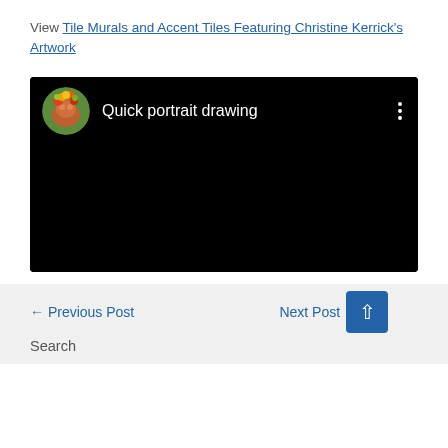View Tile Murals and Accent Tiles Featuring Christine Kerrick's Artwork
[Figure (screenshot): Embedded video player with black background showing 'Quick portrait drawing' title with a colorful portrait avatar icon on the left and three vertical dots menu icon on the right]
← Previous Post
Next Post →
Search